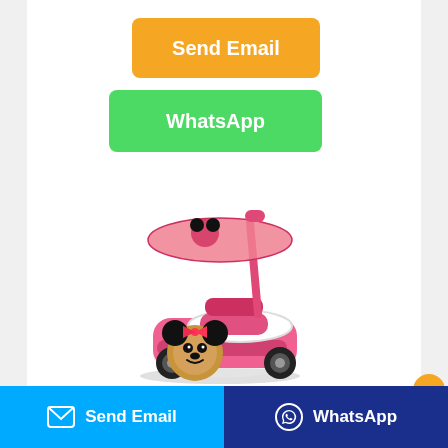[Figure (screenshot): Orange 'Send Email' button]
[Figure (screenshot): Green 'WhatsApp' button]
[Figure (photo): Minnie Mouse themed children's ride-on push car toy, pink color with Minnie Mouse face, canopy/umbrella with Minnie graphic, and parent push handle]
[Figure (screenshot): Bottom navigation bar with blue 'Send Email' button on left and dark blue 'WhatsApp' button on right]